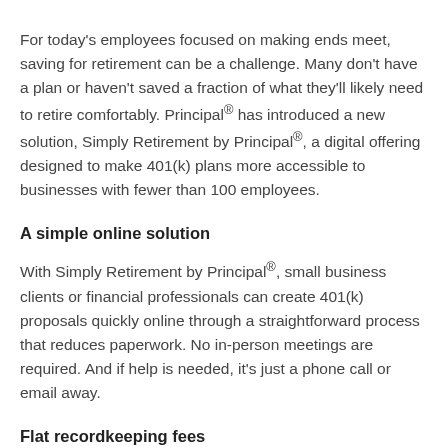For today's employees focused on making ends meet, saving for retirement can be a challenge. Many don't have a plan or haven't saved a fraction of what they'll likely need to retire comfortably. Principal® has introduced a new solution, Simply Retirement by Principal®, a digital offering designed to make 401(k) plans more accessible to businesses with fewer than 100 employees.
A simple online solution
With Simply Retirement by Principal®, small business clients or financial professionals can create 401(k) proposals quickly online through a straightforward process that reduces paperwork. No in-person meetings are required. And if help is needed, it's just a phone call or email away.
Flat recordkeeping fees